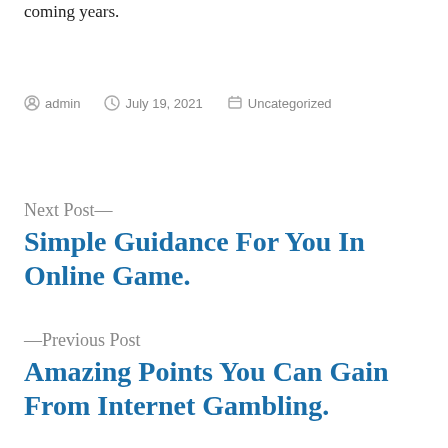coming years.
By admin   July 19, 2021   Uncategorized
Next Post—
Simple Guidance For You In Online Game.
—Previous Post
Amazing Points You Can Gain From Internet Gambling.